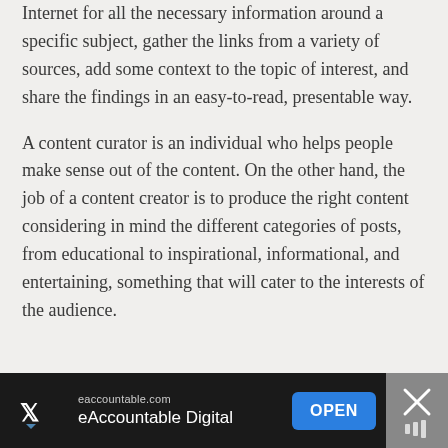Internet for all the necessary information around a specific subject, gather the links from a variety of sources, add some context to the topic of interest, and share the findings in an easy-to-read, presentable way.
A content curator is an individual who helps people make sense out of the content. On the other hand, the job of a content creator is to produce the right content considering in mind the different categories of posts, from educational to inspirational, informational, and entertaining, something that will cater to the interests of the audience.
[Figure (other): Advertisement banner at bottom of page. Black background with eAccountable Digital ad showing 'eaccountable.com' URL, 'eAccountable Digital' text, an OPEN button in blue, and a close (X) button on the right. X social media logo on the left.]